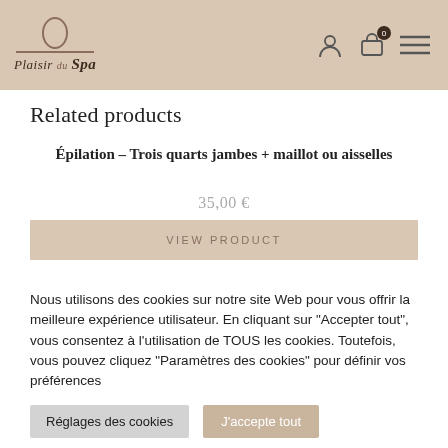Plaisir du Spa
Related products
Épilation – Trois quarts jambes + maillot ou aisselles
35,00 €
VIEW PRODUCT
Nous utilisons des cookies sur notre site Web pour vous offrir la meilleure expérience utilisateur. En cliquant sur "Accepter tout", vous consentez à l'utilisation de TOUS les cookies. Toutefois, vous pouvez cliquez "Paramètres des cookies" pour définir vos préférences
Réglages des cookies
J'accepte tout